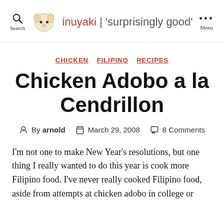inuyaki | 'surprisingly good'
CHICKEN  FILIPINO  RECIPES
Chicken Adobo a la Cendrillon
By arnold   March 29, 2008   8 Comments
I'm not one to make New Year's resolutions, but one thing I really wanted to do this year is cook more Filipino food. I've never really cooked Filipino food, aside from attempts at chicken adobo in college or